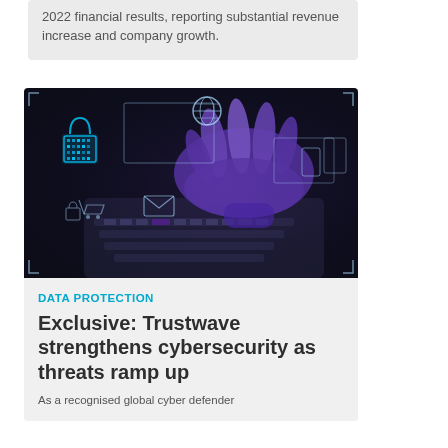2022 financial results, reporting substantial revenue increase and company growth.
[Figure (photo): A person's hands typing on a laptop keyboard at night, with digital cybersecurity icons overlaid including a padlock, globe, envelope, and other digital symbols in blue and purple tones.]
DATA PROTECTION
Exclusive: Trustwave strengthens cybersecurity as threats ramp up
As a recognised global cyber defender